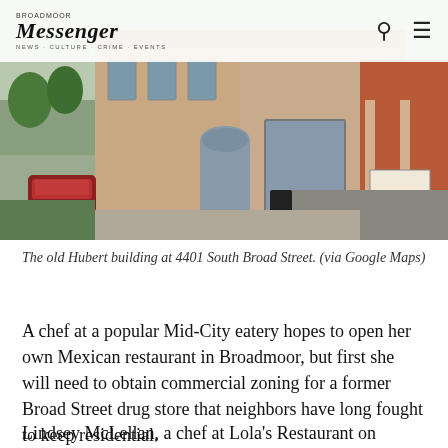Messenger
[Figure (photo): Street-level view of the old Hubert building at 4401 South Broad Street, a two-story pink/tan brick corner building with arched doorway, adjacent to a church on the right, photographed via Google Maps.]
The old Hubert building at 4401 South Broad Street. (via Google Maps)
A chef at a popular Mid-City eatery hopes to open her own Mexican restaurant in Broadmoor, but first she will need to obtain commercial zoning for a former Broad Street drug store that neighbors have long fought to keep residential.
Lindsey McLellan, a chef at Lola's Restaurant on